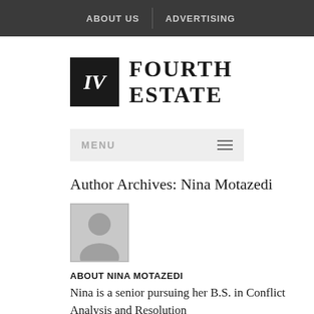ABOUT US | ADVERTISING
IV FOURTH ESTATE
MENU
Author Archives: Nina Motazedi
[Figure (illustration): Grey avatar/profile placeholder icon showing a silhouette of a person]
ABOUT NINA MOTAZEDI
Nina is a senior pursuing her B.S. in Conflict Analysis and Resolution